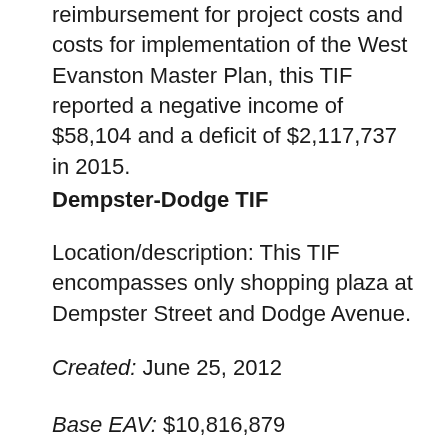reimbursement for project costs and costs for implementation of the West Evanston Master Plan, this TIF reported a negative income of $58,104 and a deficit of $2,117,737 in 2015.
Dempster-Dodge TIF
Location/description: This TIF encompasses only shopping plaza at Dempster Street and Dodge Avenue.
Created: June 25, 2012
Base EAV: $10,816,879